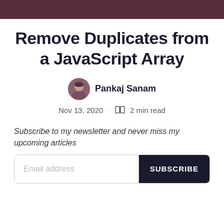Remove Duplicates from a JavaScript Array
Pankaj Sanam
Nov 13, 2020 · 2 min read
Subscribe to my newsletter and never miss my upcoming articles
Email address  SUBSCRIBE